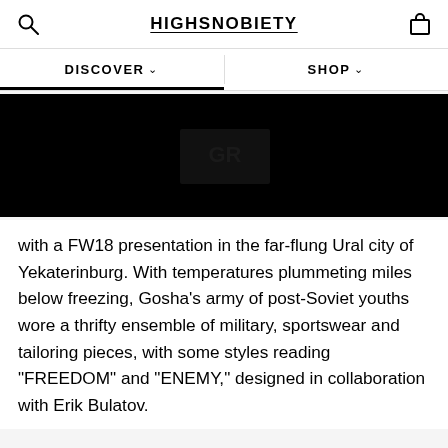HIGHSNOBIETY
DISCOVER ∨
SHOP ∨
[Figure (photo): Dark/black full-width image, nearly entirely black, faint shapes barely visible]
with a FW18 presentation in the far-flung Ural city of Yekaterinburg. With temperatures plummeting miles below freezing, Gosha's army of post-Soviet youths wore a thrifty ensemble of military, sportswear and tailoring pieces, with some styles reading "FREEDOM" and "ENEMY," designed in collaboration with Erik Bulatov.